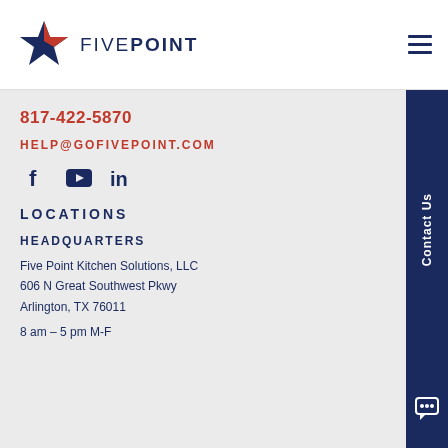[Figure (logo): Five Point logo with star icon (navy and red) and FIVEPOINT text]
817-422-5870
HELP@GOFIVEPOINT.COM
[Figure (infographic): Social media icons: Facebook, YouTube, LinkedIn in navy]
LOCATIONS
HEADQUARTERS
Five Point Kitchen Solutions, LLC
606 N Great Southwest Pkwy
Arlington, TX 76011
8 am – 5 pm M-F